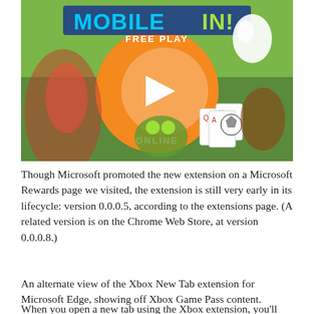[Figure (illustration): Mobile gaming promotional banner with cartoon game characters, playing cards, a soccer ball, and a large orange circle with 'FREE PLAY ONLINE' text and a play button. 'MOBILE IN!' logo at the top in blue and green pixel-style letters.]
Though Microsoft promoted the new extension on a Microsoft Rewards page we visited, the extension is still very early in its lifecycle: version 0.0.0.5, according to the extensions page. (A related version is on the Chrome Web Store, at version 0.0.0.8.)
An alternate view of the Xbox New Tab extension for Microsoft Edge, showing off Xbox Game Pass content.
When you open a new tab using the Xbox extension, you'll see a